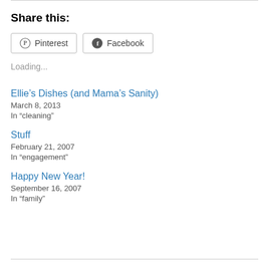Share this:
Pinterest
Facebook
Loading...
Ellie’s Dishes (and Mama’s Sanity)
March 8, 2013
In “cleaning”
Stuff
February 21, 2007
In “engagement”
Happy New Year!
September 16, 2007
In “family”